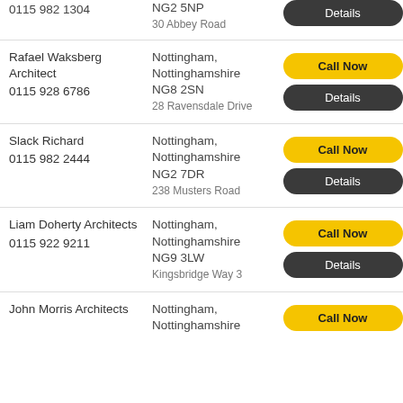0115 982 1304 | NG2 5NP | 30 Abbey Road | Details
Rafael Waksberg Architect | 0115 928 6786 | Nottingham, Nottinghamshire | NG8 2SN | 28 Ravensdale Drive | Call Now | Details
Slack Richard | 0115 982 2444 | Nottingham, Nottinghamshire | NG2 7DR | 238 Musters Road | Call Now | Details
Liam Doherty Architects | 0115 922 9211 | Nottingham, Nottinghamshire | NG9 3LW | Kingsbridge Way 3 | Call Now | Details
John Morris Architects | Nottingham, Nottinghamshire | Call Now